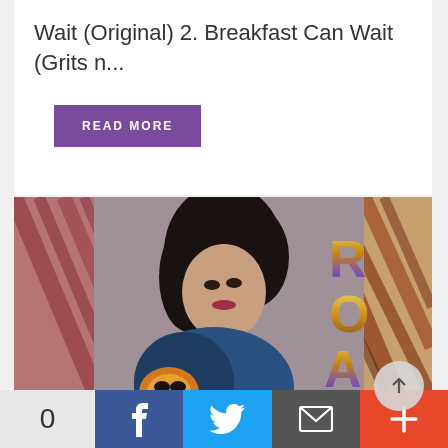Wait (Original) 2. Breakfast Can Wait (Grits n...
READ MORE
[Figure (photo): Katy Perry Roar album cover artwork showing a woman in a blue tiger-embroidered jacket against a tiger stripe background with gold 'ROAR' text.]
0
f
Twitter bird icon
Email icon
+